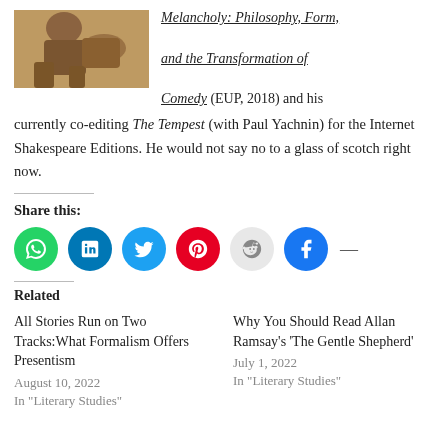[Figure (photo): Photo of a person, cropped showing upper body and hands, warm brown tones]
Melancholy: Philosophy, Form, and the Transformation of Comedy (EUP, 2018) and his currently co-editing The Tempest (with Paul Yachnin) for the Internet Shakespeare Editions. He would not say no to a glass of scotch right now.
Share this:
Related
All Stories Run on Two Tracks:What Formalism Offers Presentism
August 10, 2022
In "Literary Studies"
Why You Should Read Allan Ramsay's 'The Gentle Shepherd'
July 1, 2022
In "Literary Studies"